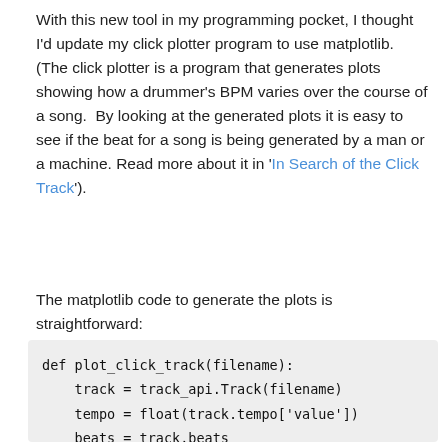With this new tool in my programming pocket, I thought I'd update my click plotter program to use matplotlib. (The click plotter is a program that generates plots showing how a drummer's BPM varies over the course of a song. By looking at the generated plots it is easy to see if the beat for a song is being generated by a man or a machine. Read more about it in 'In Search of the Click Track').
The matplotlib code to generate the plots is straightforward:
def plot_click_track(filename):
    track = track_api.Track(filename)
    tempo = float(track.tempo['value'])
    beats = track.beats
    times = [ dict['start'] for dict in be
    bpms = get_bpms(times)